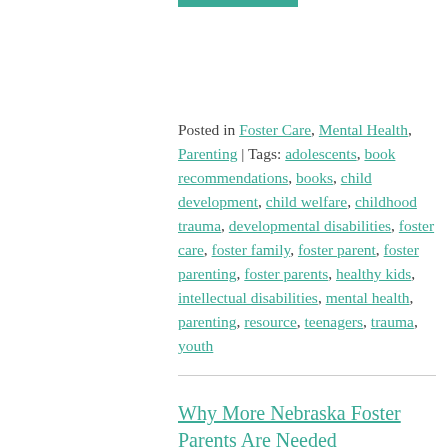[Figure (other): Teal/green horizontal bar decoration at the top]
Posted in Foster Care, Mental Health, Parenting | Tags: adolescents, book recommendations, books, child development, child welfare, childhood trauma, developmental disabilities, foster care, foster family, foster parent, foster parenting, foster parents, healthy kids, intellectual disabilities, mental health, parenting, resource, teenagers, trauma, youth
Why More Nebraska Foster Parents Are Needed